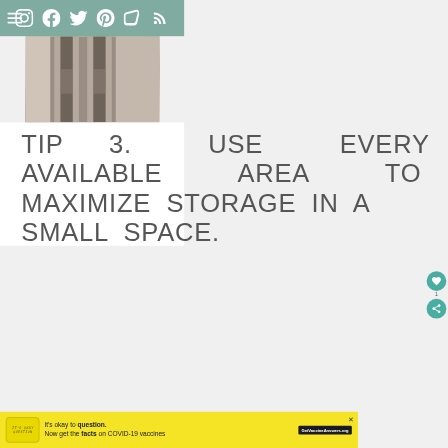Navigation bar with hamburger menu and social icons: Instagram, Facebook, Twitter, Pinterest, Bloglovin, RSS
[Figure (photo): Close-up photo of metallic cylindrical objects (possibly kitchen utensils or containers) against a light beige/grey background, viewed from above]
TIP 3. USE EVERY AVAILABLE AREA TO MAXIMIZE STORAGE IN A SMALL SPACE.
[Figure (infographic): Yellow advertisement banner: It's okay to question. Now get the facts on COVID-19 vaccines. GetVaccineAnswers.org]